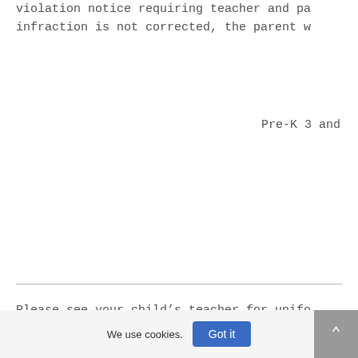violation notice requiring teacher and pa infraction is not corrected, the parent w
Pre-K 3 and
Please see your child’s teacher for unifo
|  | K-8th Grade | School |
| --- | --- | --- |
| School Uniform | Warm Weather | Cold W |
| August-October | Novemb |
| & April-May |  |